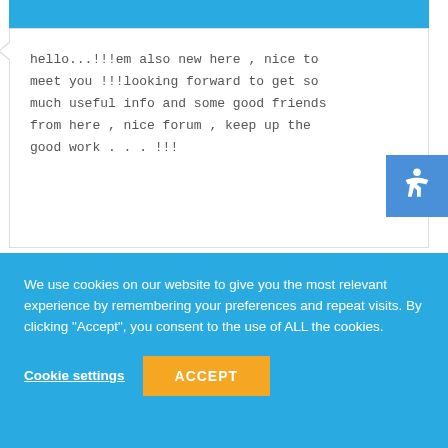hello...!!!em also new here , nice to meet you !!!looking forward to get so much useful info and some good friends from here , nice forum , keep up the good work . . . !!!
Log In   Register   Lost Password
Viewing 3 reply threads
We use cookies on our website to give you the most relevant experience by remembering your preferences and repeat visits. By clicking “Accept”, you consent to the use of ALL the cookies.
Cookie settings   ACCEPT